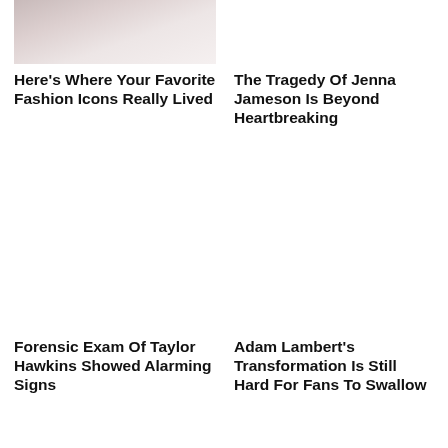[Figure (photo): Partial face of a person with light hair, cropped at top]
Here's Where Your Favorite Fashion Icons Really Lived
[Figure (photo): Empty/blank image placeholder for Jenna Jameson article]
The Tragedy Of Jenna Jameson Is Beyond Heartbreaking
[Figure (photo): Empty/blank image placeholder for Taylor Hawkins article]
Forensic Exam Of Taylor Hawkins Showed Alarming Signs
[Figure (photo): Empty/blank image placeholder for Adam Lambert article]
Adam Lambert's Transformation Is Still Hard For Fans To Swallow